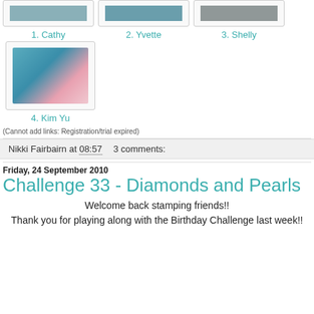[Figure (photo): Thumbnail image 1 - Cathy]
1. Cathy
[Figure (photo): Thumbnail image 2 - Yvette]
2. Yvette
[Figure (photo): Thumbnail image 3 - Shelly]
3. Shelly
[Figure (photo): Thumbnail image 4 - Kim Yu, fairy card craft project]
4. Kim Yu
(Cannot add links: Registration/trial expired)
Nikki Fairbairn at 08:57    3 comments:
Friday, 24 September 2010
Challenge 33 - Diamonds and Pearls
Welcome back stamping friends!!
Thank you for playing along with the Birthday Challenge last week!!